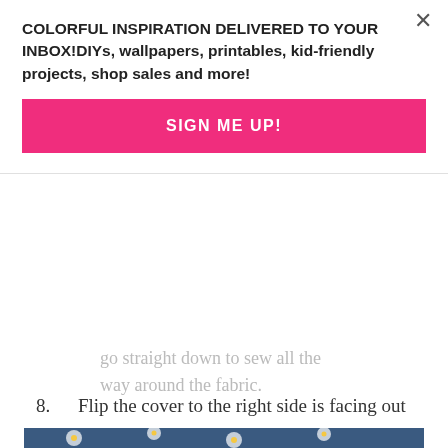COLORFUL INSPIRATION DELIVERED TO YOUR INBOX!DIYs, wallpapers, printables, kid-friendly projects, shop sales and more!
SIGN ME UP!
...go straight down to sew all the way around the fabric.
8. Flip the cover to the right side is facing out and place the dog bed insert inside. Then just unzip it, remove the cover and wash it when it gets dirty.
[Figure (photo): A dog (appears to be a beagle) resting on a blue floral patterned dog bed with white daisy flowers and green leaves on dark blue fabric.]